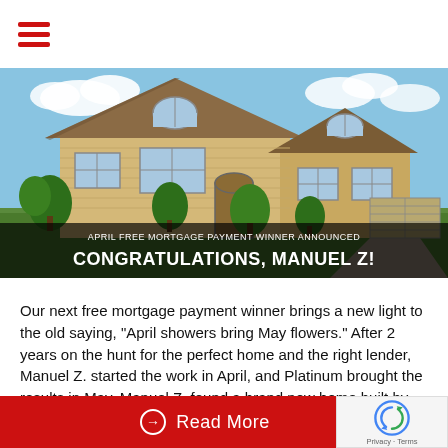☰ (hamburger menu)
[Figure (photo): Hero image of a large two-story suburban home with tan/beige siding, multiple windows, green landscaping, and a blue sky. Overlaid at the bottom is dark banner text reading 'APRIL FREE MORTGAGE PAYMENT WINNER ANNOUNCED' and 'CONGRATULATIONS, MANUEL Z!']
Our next free mortgage payment winner brings a new light to the old saying, "April showers bring May flowers." After 2 years on the hunt for the perfect home and the right lender, Manuel Z. started the work in April, and Platinum brought the results in May. Manuel Z. found a brand new home built by Lenox Homes in central California. He was...
Read More